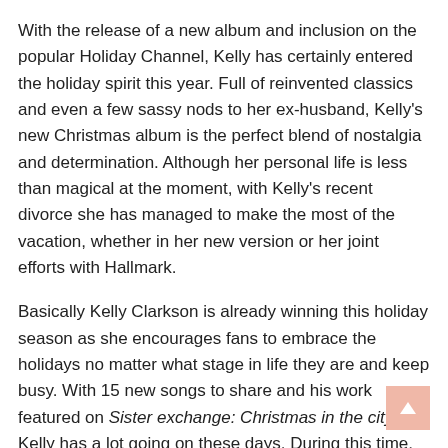With the release of a new album and inclusion on the popular Holiday Channel, Kelly has certainly entered the holiday spirit this year. Full of reinvented classics and even a few sassy nods to her ex-husband, Kelly's new Christmas album is the perfect blend of nostalgia and determination. Although her personal life is less than magical at the moment, with Kelly's recent divorce she has managed to make the most of the vacation, whether in her new version or her joint efforts with Hallmark.
Basically Kelly Clarkson is already winning this holiday season as she encourages fans to embrace the holidays no matter what stage in life they are and keep busy. With 15 new songs to share and his work featured on Sister exchange: Christmas in the city, Kelly has a lot going on these days. During this time, The voice Season 21 is fully operational and headed for a controversial finale. Looks like Kelly might need some rest and relaxation after the holidays.